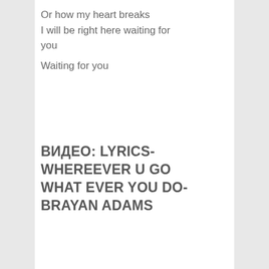Or how my heart breaks
I will be right here waiting for you
Waiting for you
ВИДЕО: LYRICS- WHEREEVER U GO WHAT EVER YOU DO- BRAYAN ADAMS